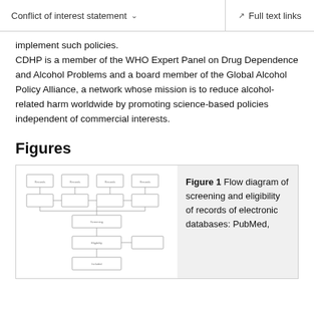Conflict of interest statement  ∨   Full text links
implement such policies.
CDHP is a member of the WHO Expert Panel on Drug Dependence and Alcohol Problems and a board member of the Global Alcohol Policy Alliance, a network whose mission is to reduce alcohol-related harm worldwide by promoting science-based policies independent of commercial interests.
Figures
[Figure (flowchart): Flow diagram thumbnail showing screening and eligibility of records from electronic databases]
Figure 1 Flow diagram of screening and eligibility of records of electronic databases: PubMed,